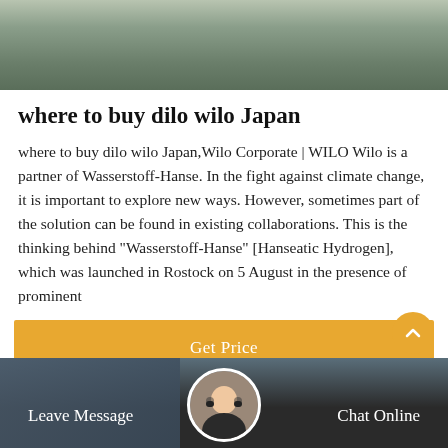[Figure (photo): Top banner image showing an outdoor winter/grey scene with trees, muted grey-green tones]
where to buy dilo wilo Japan
where to buy dilo wilo Japan,Wilo Corporate | WILO Wilo is a partner of Wasserstoff-Hanse. In the fight against climate change, it is important to explore new ways. However, sometimes part of the solution can be found in existing collaborations. This is the thinking behind "Wasserstoff-Hanse" [Hanseatic Hydrogen], which was launched in Rostock on 5 August in the presence of prominent
[Figure (other): Get Price orange button]
[Figure (photo): Bottom dark bar with Leave Message and Chat Online options and a customer service agent avatar in the center]